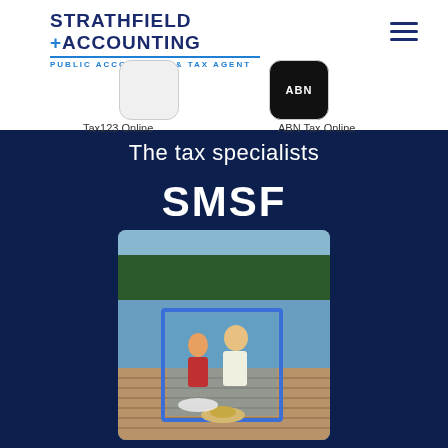STRATHFIELD + ACCOUNTING PUBLIC ACCOUNTANT & TAX AGENT
[Figure (logo): Strathfield Accounting logo with company name and tagline PUBLIC ACCOUNTANT & TAX AGENT]
[Figure (screenshot): Tax123 Online app icon - white rounded square]
[Figure (screenshot): ABN Tax Online app icon - black rounded square with ABN text]
Tax123 Online
ABN Tax Online
The tax specialists
SMSF
[Figure (photo): Two elderly people sitting on a wooden dock by a lake, viewed through a blue-framed polaroid-style photo overlay. Trees visible in background.]